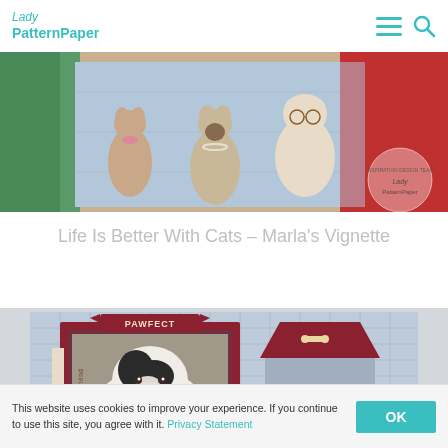Lady Pattern Paper — navigation header with logo, hamburger menu, and search icons
[Figure (photo): Banner photo showing decorative cat vignette scene with multiple illustrated cats including Siamese and Persian cats arranged on a shelf with patterned paper backgrounds and an 'Inspiration Design Team Lady Pattern Paper' watermark seal]
Life Is Better With Cats – Marla's Vignette
[Figure (photo): Partial view of a scrapbooking layout featuring a black and white puppy photo with 'PAWFECT' banner, 'Best Friend' text, plaid patterned paper backgrounds, and a decorative dog house element with heart and bone embellishments]
This website uses cookies to improve your experience. If you continue to use this site, you agree with it. Privacy Statement